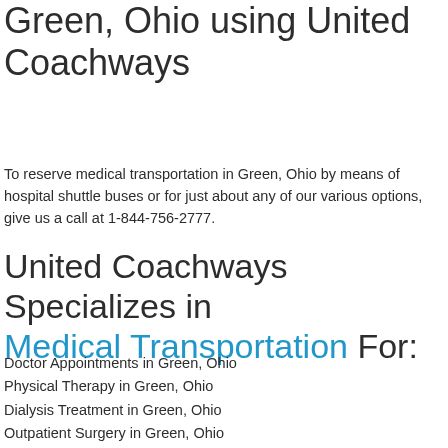Green, Ohio using United Coachways
To reserve medical transportation in Green, Ohio by means of hospital shuttle buses or for just about any of our various options, give us a call at 1-844-756-2777.
United Coachways Specializes in Medical Transportation For:
Doctor Appointments in Green, Ohio
Physical Therapy in Green, Ohio
Dialysis Treatment in Green, Ohio
Outpatient Surgery in Green, Ohio
Treatment Centers in Green, Ohio
Prescription Drug Pick Up in Green, Ohio